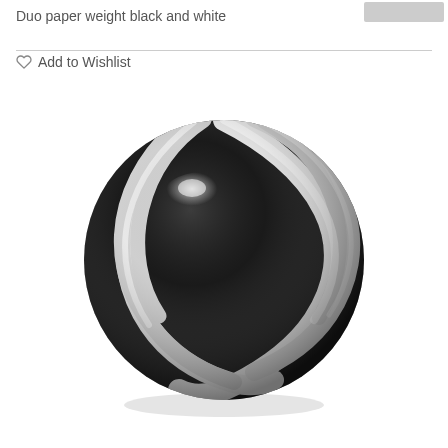Duo paper weight black and white
Add to Wishlist
[Figure (photo): A glass paperweight with black and white swirling spiral pattern, spherical shape with glossy finish, photographed on white background]